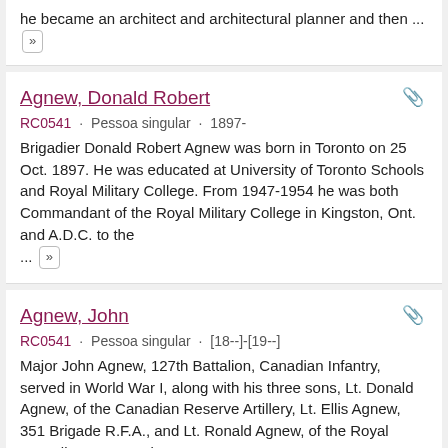he became an architect and architectural planner and then ... [»]
Agnew, Donald Robert
RC0541 · Pessoa singular · 1897-
Brigadier Donald Robert Agnew was born in Toronto on 25 Oct. 1897. He was educated at University of Toronto Schools and Royal Military College. From 1947-1954 he was both Commandant of the Royal Military College in Kingston, Ont. and A.D.C. to the ... [»]
Agnew, John
RC0541 · Pessoa singular · [18--]-[19--]
Major John Agnew, 127th Battalion, Canadian Infantry, served in World War I, along with his three sons, Lt. Donald Agnew, of the Canadian Reserve Artillery, Lt. Ellis Agnew, 351 Brigade R.F.A., and Lt. Ronald Agnew, of the Royal Canadian Navy. Major